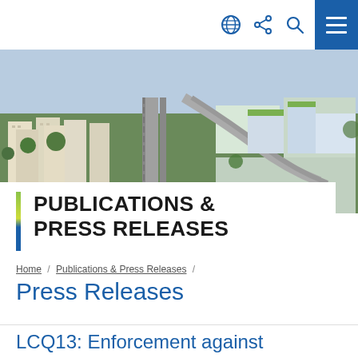[Figure (photo): Aerial view of urban residential buildings and infrastructure/transit hub with green roofs, roads, and surrounding greenery.]
PUBLICATIONS & PRESS RELEASES
Home / Publications & Press Releases /
Press Releases
LCQ13: Enforcement against